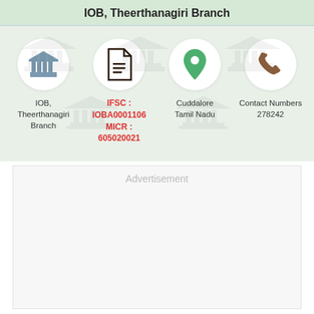IOB, Theerthanagiri Branch
[Figure (infographic): Four icon cards showing bank icon with label 'IOB, Theerthanagiri Branch', document icon with IFSC: IOBA0001106 and MICR: 605020021, location pin icon with 'Cuddalore Tamil Nadu', and phone icon with 'Contact Numbers 278242']
Advertisement